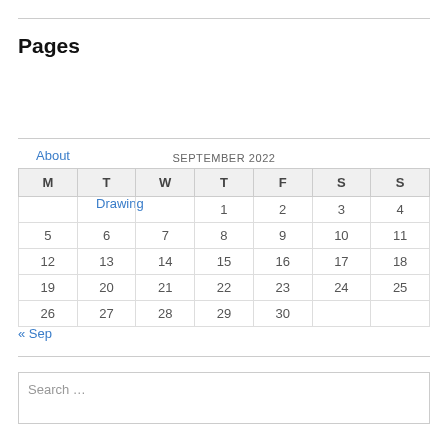Pages
About
Drawing
| M | T | W | T | F | S | S |
| --- | --- | --- | --- | --- | --- | --- |
|  |  |  | 1 | 2 | 3 | 4 |
| 5 | 6 | 7 | 8 | 9 | 10 | 11 |
| 12 | 13 | 14 | 15 | 16 | 17 | 18 |
| 19 | 20 | 21 | 22 | 23 | 24 | 25 |
| 26 | 27 | 28 | 29 | 30 |  |  |
« Sep
Search